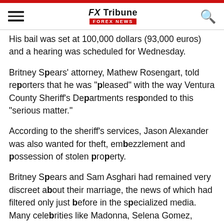FX Tribune FOREX NEWS
His bail was set at 100,000 dollars (93,000 euros) and a hearing was scheduled for Wednesday.
Britney Spears' attorney, Mathew Rosengart, told reporters that he was "pleased" with the way Ventura County Sheriff's Departments responded to this "serious matter."
According to the sheriff's services, Jason Alexander was also wanted for theft, embezzlement and possession of stolen property.
Britney Spears and Sam Asghari had remained very discreet about their marriage, the news of which had filtered only just before in the specialized media. Many celebrities like Madonna, Selena Gomez, Drew Barrymore, Paris Hilton and Donatella Versace - who designed the wedding dress - were present